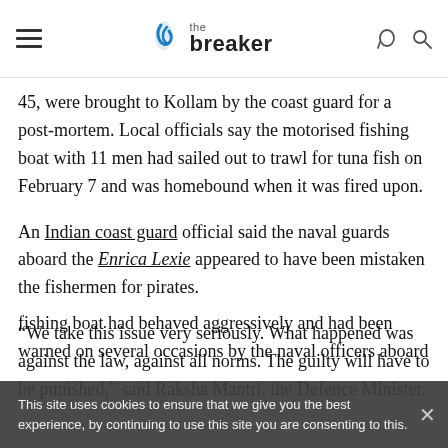the breaker
45, were brought to Kollam by the coast guard for a post-mortem. Local officials say the motorised fishing boat with 11 men had sailed out to trawl for tuna fish on February 7 and was homebound when it was fired upon.
An Indian coast guard official said the naval guards aboard the Enrica Lexie appeared to have been mistaken the fishermen for pirates.
“We take this issue very seriously. What happened was against the law, against all norms. The guilty will have to be punished,” said Raksha Mantri, the Defence Minister.
This site uses cookies to ensure that we give you the best experience, by continuing to use this site you are consenting to this.
fishing boat had behaved aggressively and had been warned on several occasions by the naval officers aboard